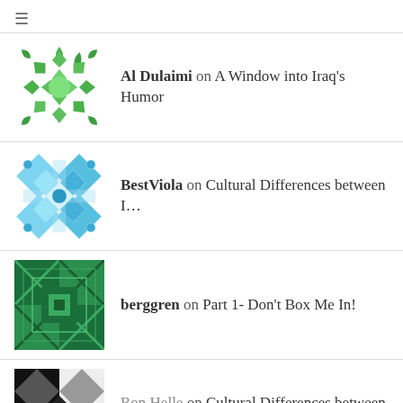Al Dulaimi on A Window into Iraq's Humor
BestViola on Cultural Differences between I...
berggren on Part 1- Don't Box Me In!
Ron Helle on Cultural Differences between I...
On to the next chapt… on Cultural Differences between I...